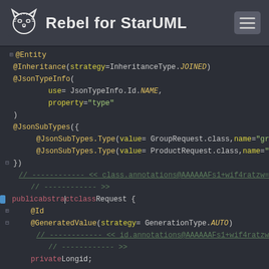Rebel for StarUML
[Figure (screenshot): Java source code editor screenshot showing annotations @Entity, @Inheritance, @JsonTypeInfo, @JsonSubTypes on an abstract class Request with fields id and version. Dark theme code editor (Rebel for StarUML).]